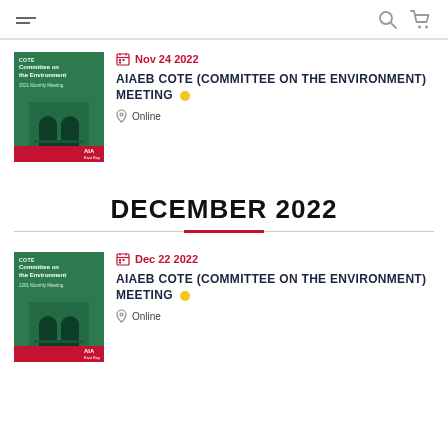Navigation bar with hamburger menu, search and cart icons
Nov 24 2022
AIAEB COTE (COMMITTEE ON THE ENVIRONMENT) MEETING
Online
DECEMBER 2022
Dec 22 2022
AIAEB COTE (COMMITTEE ON THE ENVIRONMENT) MEETING
Online